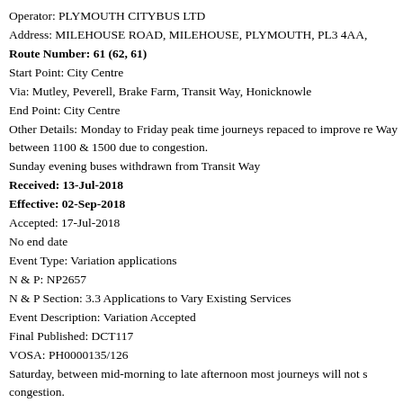Operator: PLYMOUTH CITYBUS LTD
Address: MILEHOUSE ROAD, MILEHOUSE, PLYMOUTH, PL3 4AA,
Route Number: 61 (62, 61)
Start Point: City Centre
Via: Mutley, Peverell, Brake Farm, Transit Way, Honicknowle
End Point: City Centre
Other Details: Monday to Friday peak time journeys repaced to improve re Way between 1100 & 1500 due to congestion.
Sunday evening buses withdrawn from Transit Way
Received: 13-Jul-2018
Effective: 02-Sep-2018
Accepted: 17-Jul-2018
No end date
Event Type: Variation applications
N & P:  NP2657
N & P Section: 3.3 Applications to Vary Existing Services
Event Description:  Variation Accepted
Final Published: DCT117
VOSA: PH0000135/126
Saturday, between mid-morning to late afternoon most journeys will not s congestion.